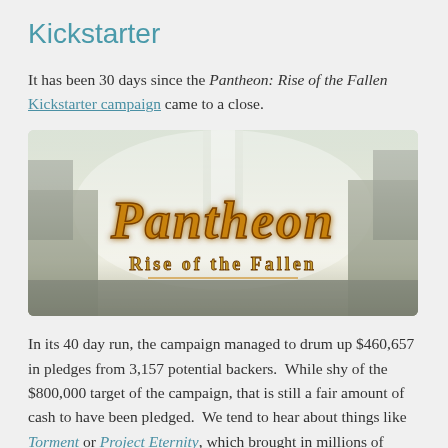Kickstarter
It has been 30 days since the Pantheon: Rise of the Fallen Kickstarter campaign came to a close.
[Figure (illustration): Pantheon: Rise of the Fallen game banner image with fantasy landscape background and stylized orange/gold title text]
In its 40 day run, the campaign managed to drum up $460,657 in pledges from 3,157 potential backers.  While shy of the $800,000 target of the campaign, that is still a fair amount of cash to have been pledged.  We tend to hear about things like Torment or Project Eternity, which brought in millions of dollars, but Kickstarter is full of little campaigns for $10,000 or less.  According to Kickstarter, projects that raise